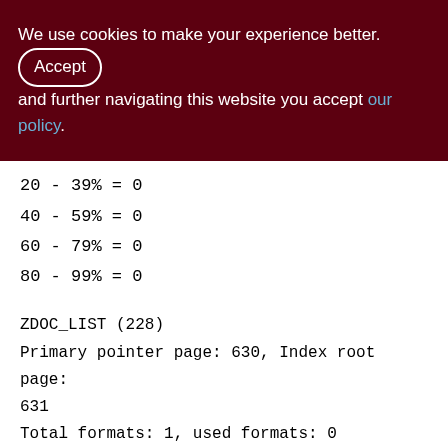We use cookies to make your experience better. By accepting and further navigating this website you accept our policy.
20 - 39% = 0
40 - 59% = 0
60 - 79% = 0
80 - 99% = 0
ZDOC_LIST (228)
Primary pointer page: 630, Index root page: 631
Total formats: 1, used formats: 0
Average record length: 0.00, total records: 0
Average version length: 0.00, total